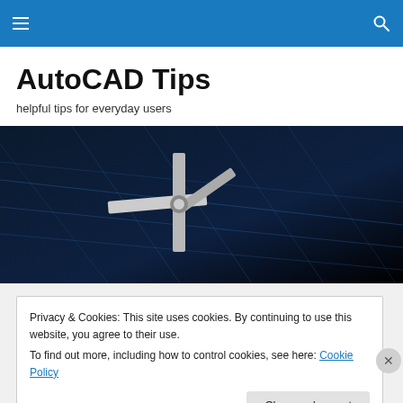AutoCAD Tips [navigation header with hamburger menu and search icon]
AutoCAD Tips
helpful tips for everyday users
[Figure (photo): Dark background with blue grid lines and a 3D white cross/axis marker in the center, resembling AutoCAD 3D viewport with UCS icon]
Privacy & Cookies: This site uses cookies. By continuing to use this website, you agree to their use.
To find out more, including how to control cookies, see here: Cookie Policy
Close and accept